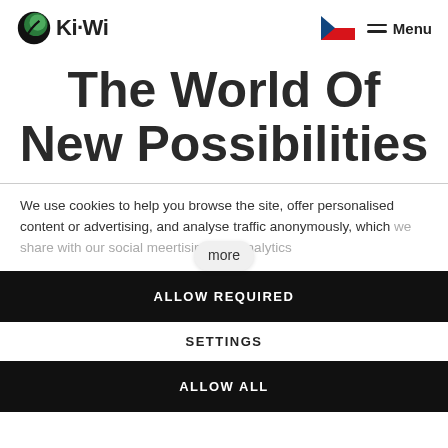Ki-Wi | Czech flag | Menu
The World Of New Possibilities
We use cookies to help you browse the site, offer personalised content or advertising, and analyse traffic anonymously, which we share with our social media, advertising and analytics more
ALLOW REQUIRED
SETTINGS
ALLOW ALL